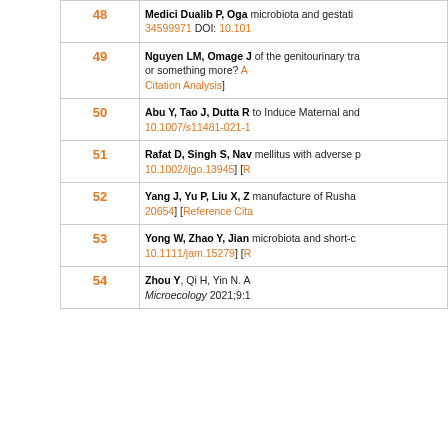| # | Reference |
| --- | --- |
| 48 | Medici Dualib P, Oga... microbiota and gestati... 34599971 DOI: 10.101... |
| 49 | Nguyen LM, Omage J... of the genitourinary tra... or something more? A... Citation Analysis] |
| 50 | Abu Y, Tao J, Dutta R... to Induce Maternal and... 10.1007/s11481-021-1... |
| 51 | Rafat D, Singh S, Nav... mellitus with adverse p... 10.1002/ijgo.13945] [R... |
| 52 | Yang J, Yu P, Liu X, Z... manufacture of Rusha... 20654] [Reference Cita... |
| 53 | Yong W, Zhao Y, Jian... microbiota and short-c... 10.1111/jam.15279] [R... |
| 54 | Zhou Y, Qi H, Yin N. A... Microecology 2021;9:1... |